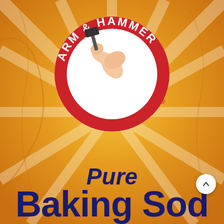[Figure (logo): Arm & Hammer logo — circular red badge with white border. Text around the top reads 'ARM & HAMMER' and bottom reads 'THE STANDARD OF PURITY'. Center shows a muscular arm holding a hammer, white background inside the red ring. Registered trademark symbol outside ring at bottom right.]
Pure Baking Sod